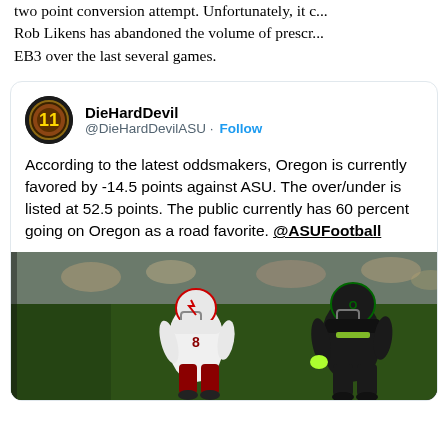two point conversion attempt. Unfortunately, it s... Rob Likens has abandoned the volume of prescr... EB3 over the last several games.
DieHardDevil @DieHardDevilASU · Follow
According to the latest oddsmakers, Oregon is currently favored by -14.5 points against ASU. The over/under is listed at 52.5 points. The public currently has 60 percent going on Oregon as a road favorite. @ASUFootball
[Figure (photo): Football game photo showing ASU player in white uniform number 8 and Oregon player in black uniform, on field]